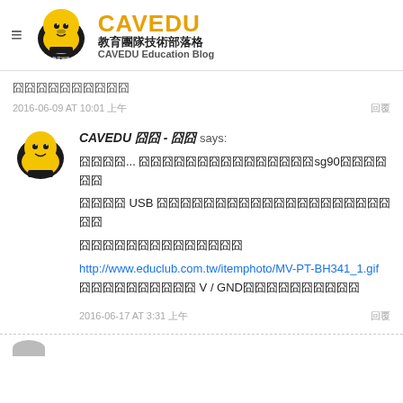CAVEDU 教育團隊技術部落格 CAVEDU Education Blog
囧囧囧囧囧囧囧囧囧囧
2016-06-09 AT 10:01 上午  回覆
CAVEDU 囧囧 - 囧囧 says: 囧囧囧囧... 囧囧囧囧囧囧囧囧囧囧囧囧囧囧囧sg90囧囧囧囧囧囧 USB 囧囧囧囧囧囧囧囧囧囧囧囧囧囧囧囧囧囧囧囧囧囧
囧囧囧囧囧囧囧囧囧囧囧囧囧囧
http://www.educlub.com.tw/itemphoto/MV-PT-BH341_1.gif 囧囧囧囧囧囧囧囧囧囧 V / GND囧囧囧囧囧囧囧囧囧囧
2016-06-17 AT 3:31 上午  回覆